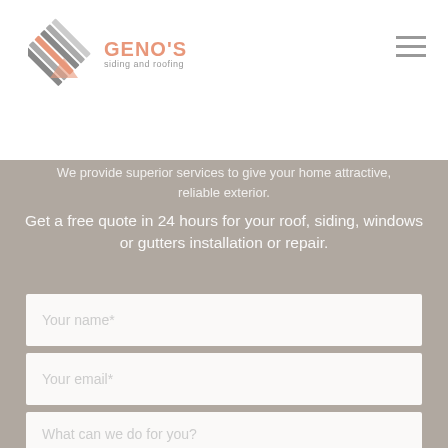[Figure (logo): Geno's Siding and Roofing logo with diagonal stripe graphic and company name in salmon/orange color]
We provide superior services to give your home attractive, reliable exterior.
Get a free quote in 24 hours for your roof, siding, windows or gutters installation or repair.
Your name*
Your email*
What can we do for you?
REQUEST A QUOTE